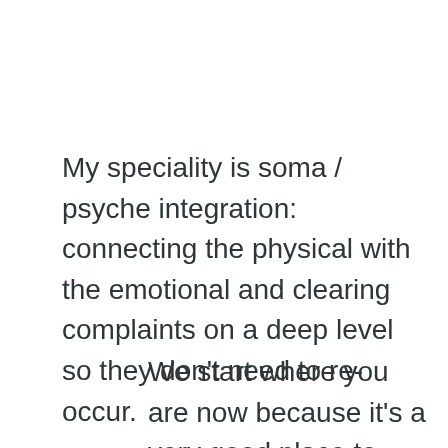My speciality is soma / psyche integration: connecting the physical with the emotional and clearing complaints on a deep level so they don't need to re-occur.
We start where you are now because it's a very good place to start.